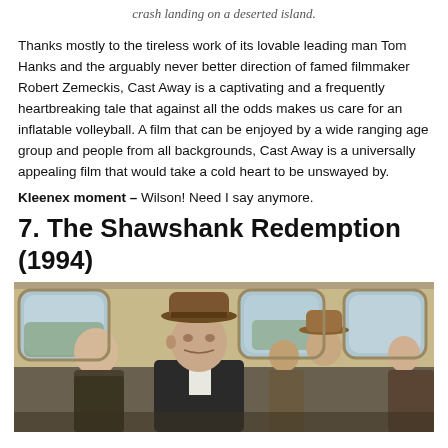crash landing on a deserted island.
Thanks mostly to the tireless work of its lovable leading man Tom Hanks and the arguably never better direction of famed filmmaker Robert Zemeckis, Cast Away is a captivating and a frequently heartbreaking tale that against all the odds makes us care for an inflatable volleyball. A film that can be enjoyed by a wide ranging age group and people from all backgrounds, Cast Away is a universally appealing film that would take a cold heart to be unswayed by.
Kleenex moment – Wilson! Need I say anymore.
7. The Shawshank Redemption (1994)
[Figure (photo): A scene from The Shawshank Redemption (1994) showing an elderly man wearing a brown hat seated on a bus, with other passengers visible in the background including a woman in a hat.]